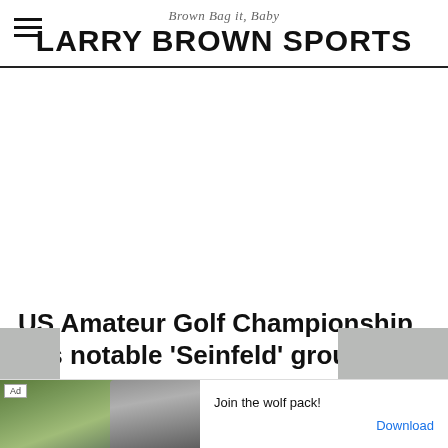Brown Bag it, Baby
LARRY BROWN SPORTS
[Figure (other): Large white advertisement space below the site header]
US Amateur Golf Championship has notable 'Seinfeld' grouping
[Figure (other): Ad banner at bottom showing wildlife/wolf game ad with text 'Join the wolf pack!' and Download button]